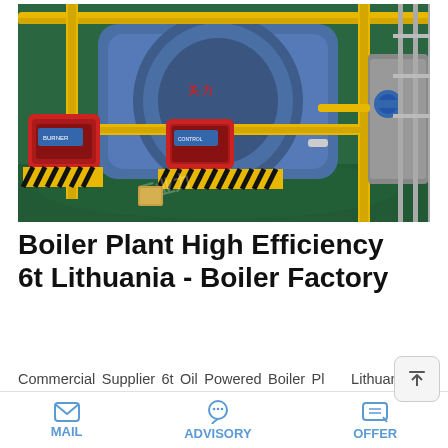[Figure (photo): Industrial boiler plant facility showing large blue cylindrical boilers with yellow and black safety-striped frames, red burner units, yellow piping, and green floor in a factory setting. Chinese characters visible on the boilers.]
Boiler Plant High Efficiency 6t Lithuania - Boiler Factory
Commercial Supplier 6t Oil Powered Boiler Plant Lithuania. 20t Coal Boiler Plant Factory Price Commercial Lithuania Price Commercial 6t oil boiler Azerbaijan 6t boiler price from factory-hamburg.de. But aft...